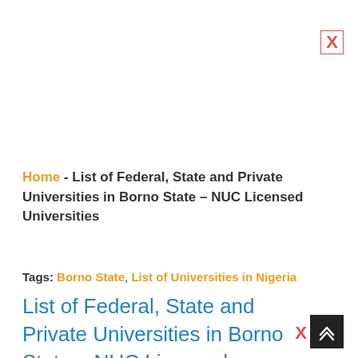X (close button top right)
Home - List of Federal, State and Private Universities in Borno State – NUC Licensed Universities
Tags: Borno State,  List of Universities in Nigeria
List of Federal, State and Private Universities in Borno State – NUC Licensed Universities